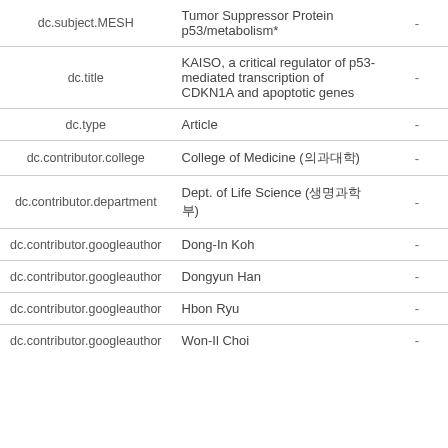| Field | Value |  |
| --- | --- | --- |
| dc.subject.MESH | Tumor Suppressor Protein p53/metabolism* | - |
| dc.title | KAISO, a critical regulator of p53-mediated transcription of CDKN1A and apoptotic genes | - |
| dc.type | Article | - |
| dc.contributor.college | College of Medicine (의과대학) | - |
| dc.contributor.department | Dept. of Life Science (생명과학부) | - |
| dc.contributor.googleauthor | Dong-In Koh | - |
| dc.contributor.googleauthor | Dongyun Han | - |
| dc.contributor.googleauthor | Hbon Ryu | - |
| dc.contributor.googleauthor | Won-Il Choi | - |